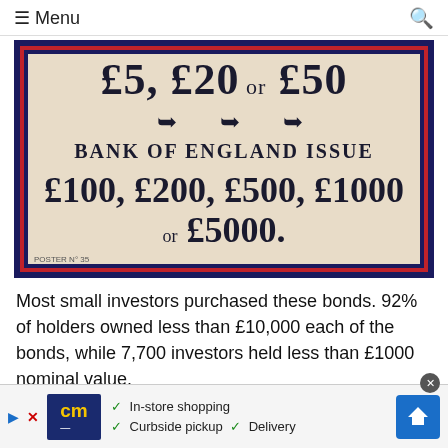Menu
[Figure (photo): Historical Bank of England bond poster showing denominations: £5, £20 or £50 (Bank of England Issue) and £100, £200, £500, £1000 or £5000 on a cream background with dark blue and red border.]
Most small investors purchased these bonds. 92% of holders owned less than £10,000 each of the bonds, while 7,700 investors held less than £1000 nominal value.